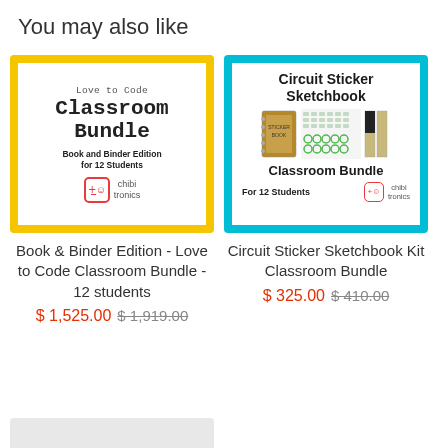You may also like
[Figure (illustration): Product image for Love to Code Classroom Bundle - Book and Binder Edition for 12 Students, with yellow border and Chibitronics logo]
Book & Binder Edition - Love to Code Classroom Bundle - 12 students
$ 1,525.00 $ 1,919.00
[Figure (illustration): Product image for Circuit Sticker Sketchbook Classroom Bundle For 12 Students, with teal/cyan border and Chibitronics logo]
Circuit Sticker Sketchbook Kit Classroom Bundle
$ 325.00 $ 410.00